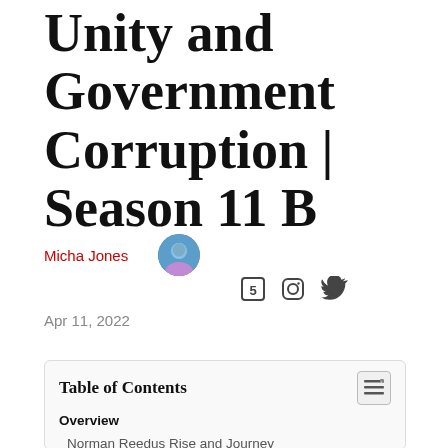Unity and Government Corruption | Season 11 B
Micha Jones
Apr 11, 2022
Table of Contents
Overview
Norman Reedus Rise and Journey
The World Itself is Hostile